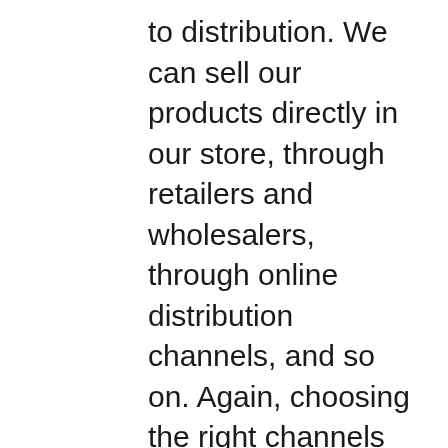to distribution. We can sell our products directly in our store, through retailers and wholesalers, through online distribution channels, and so on. Again, choosing the right channels according to your customer's preferences is important.
Whatever methods of selling are chosen, we should treat marketing as a function to help the business sell the products/services.
Marketing for the sake of sales